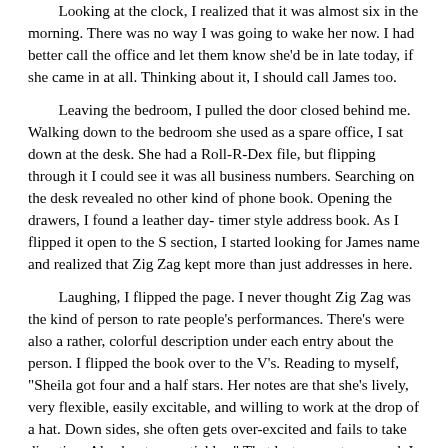Looking at the clock, I realized that it was almost six in the morning. There was no way I was going to wake her now. I had better call the office and let them know she'd be in late today, if she came in at all. Thinking about it, I should call James too.

Leaving the bedroom, I pulled the door closed behind me. Walking down to the bedroom she used as a spare office, I sat down at the desk. She had a Roll-R-Dex file, but flipping through it I could see it was all business numbers. Searching on the desk revealed no other kind of phone book. Opening the drawers, I found a leather day- timer style address book. As I flipped it open to the S section, I started looking for James name and realized that Zig Zag kept more than just addresses in here.

Laughing, I flipped the page. I never thought Zig Zag was the kind of person to rate people's performances. There's were also a rather, colorful description under each entry about the person. I flipped the book over to the V's. Reading to myself, "Sheila got four and a half stars. Her notes are that she's lively, very flexible, easily excitable, and willing to work at the drop of a hat. Down sides, she often gets over-excited and fails to take direction. Also her tongue tickles." That last one got me good. I just had to laugh cause she was right on the spot.

Finding James's entry, I picked up the phone. Dialing his home number and listened to it ring. After about the third ring, an